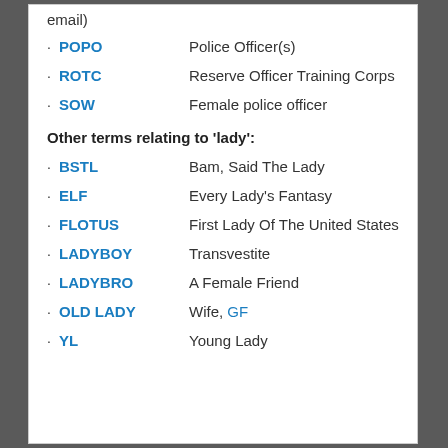email)
POPO — Police Officer(s)
ROTC — Reserve Officer Training Corps
SOW — Female police officer
Other terms relating to 'lady':
BSTL — Bam, Said The Lady
ELF — Every Lady's Fantasy
FLOTUS — First Lady Of The United States
LADYBOY — Transvestite
LADYBRO — A Female Friend
OLD LADY — Wife, GF
YL — Young Lady